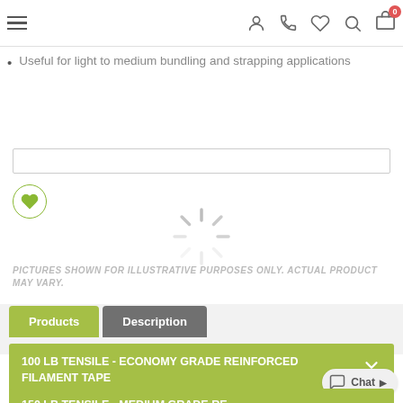Navigation bar with hamburger menu, account, phone, wishlist, search, cart (0) icons
Useful for light to medium bundling and strapping applications
[Figure (screenshot): Search input bar (empty)]
[Figure (illustration): Wishlist/heart button (circular green-bordered button with heart icon)]
[Figure (other): Loading spinner graphic centered on page]
PICTURES SHOWN FOR ILLUSTRATIVE PURPOSES ONLY. ACTUAL PRODUCT MAY VARY.
Products | Description (tab row)
100 LB TENSILE - ECONOMY GRADE REINFORCED FILAMENT TAPE